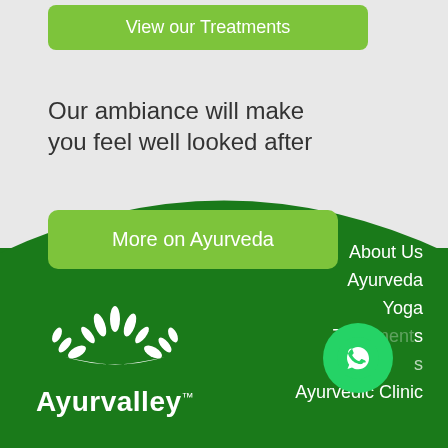[Figure (other): Green rounded button labeled 'View our Treatments' at top of page]
Our ambiance will make you feel well looked after
[Figure (other): Green rounded button labeled 'More on Ayurveda']
[Figure (other): Green curved footer section with Ayurvalley logo (white hands/leaves emblem) on left and navigation links on right: About Us, Ayurveda, Yoga, Treatments, [partial items], Ayurvedic Clinic. WhatsApp icon bubble overlapping bottom right.]
About Us
Ayurveda
Yoga
Treatments
Ayurvedic Clinic